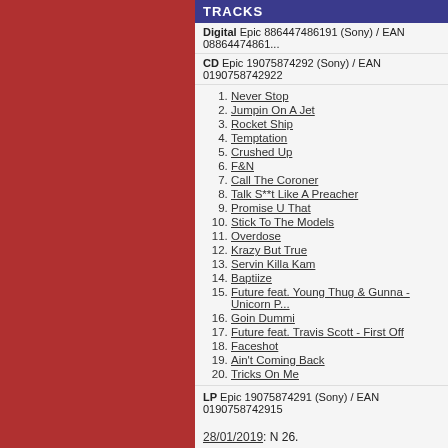TRACKS
Digital Epic 886447486191 (Sony) / EAN 08864474861...
CD Epic 19075874292 (Sony) / EAN 0190758742922
1. Never Stop
2. Jumpin On A Jet
3. Rocket Ship
4. Temptation
5. Crushed Up
6. F&N
7. Call The Coroner
8. Talk S**t Like A Preacher
9. Promise U That
10. Stick To The Models
11. Overdose
12. Krazy But True
13. Servin Killa Kam
14. Baptiize
15. Future feat. Young Thug & Gunna - Unicorn P...
16. Goin Dummi
17. Future feat. Travis Scott - First Off
18. Faceshot
19. Ain't Coming Back
20. Tricks On Me
LP Epic 19075874291 (Sony) / EAN 0190758742915
28/01/2019: N 26.
MUSIC DIRECTORY
Future    Future: Discography / Bec...
FUTURE IN NEW ZEALAND CHARTS